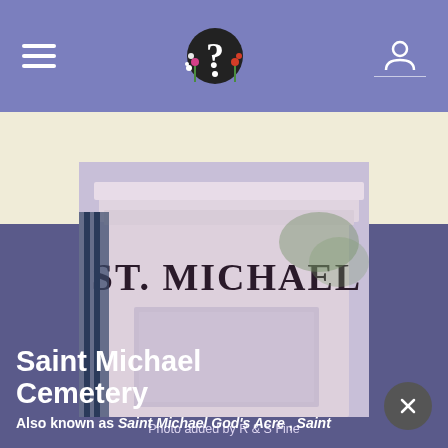Navigation bar with hamburger menu, logo, and user icon
[Figure (photo): Stone pillar gate post reading 'ST. MICHAEL' in serif letters, light pink/lavender stone, with decorative molding at top, partially visible iron gate to the left]
Photo added by R & S Fine
Saint Michael Cemetery
Also known as Saint Michael God's Acre , Saint